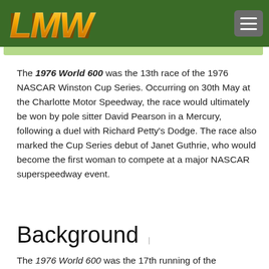LMW logo and menu button
The 1976 World 600 was the 13th race of the 1976 NASCAR Winston Cup Series. Occurring on 30th May at the Charlotte Motor Speedway, the race would ultimately be won by pole sitter David Pearson in a Mercury, following a duel with Richard Petty's Dodge. The race also marked the Cup Series debut of Janet Guthrie, who would become the first woman to compete at a major NASCAR superspeedway event.
Background
The 1976 World 600 was the 17th running of the